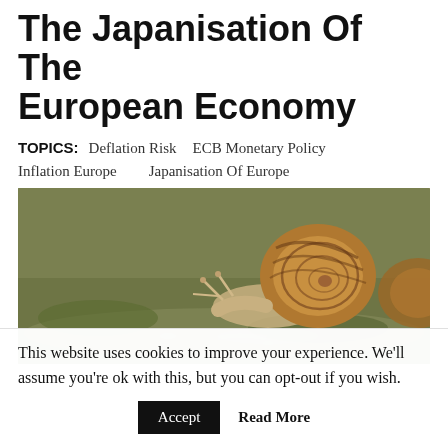The Japanisation Of The European Economy
TOPICS:   Deflation Risk   ECB Monetary Policy   Inflation Europe   Japanisation Of Europe
[Figure (photo): Close-up photograph of a snail crawling on a wet reflective surface, with its brown striped shell prominent, symbolizing slow economic growth.]
This website uses cookies to improve your experience. We'll assume you're ok with this, but you can opt-out if you wish.
Accept   Read More